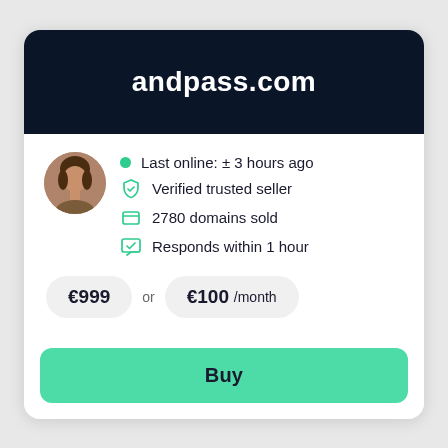andpass.com
Last online: ± 3 hours ago
Verified trusted seller
2780 domains sold
Responds within 1 hour
€999 or €100 /month
Buy